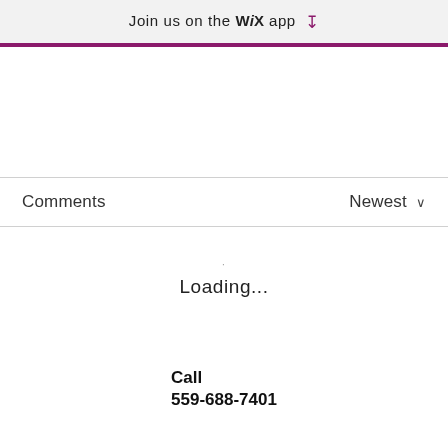Join us on the WiX app ↓
Comments   Newest ∨
Loading...
Call
559-688-7401